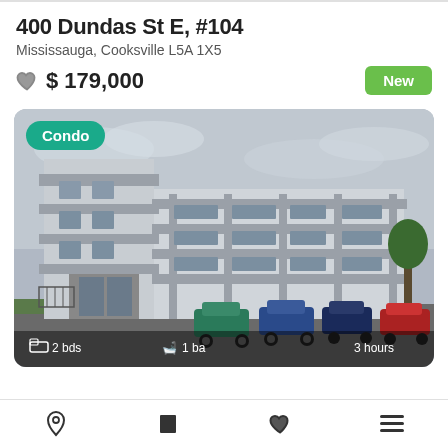400 Dundas St E, #104
Mississauga, Cooksville L5A 1X5
$ 179,000
New
[Figure (photo): Exterior photo of a multi-storey grey concrete condo building with balconies, cars parked in front, overcast sky. Badge overlay: Condo. Footer: 2 bds | 1 ba | 3 hours]
2 bds  1 ba  3 hours